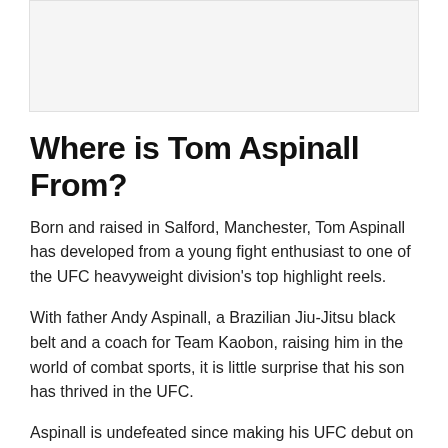[Figure (photo): Image placeholder area at the top of the page]
Where is Tom Aspinall From?
Born and raised in Salford, Manchester, Tom Aspinall has developed from a young fight enthusiast to one of the UFC heavyweight division's top highlight reels.
With father Andy Aspinall, a Brazilian Jiu-Jitsu black belt and a coach for Team Kaobon, raising him in the world of combat sports, it is little surprise that his son has thrived in the UFC.
Aspinall is undefeated since making his UFC debut on